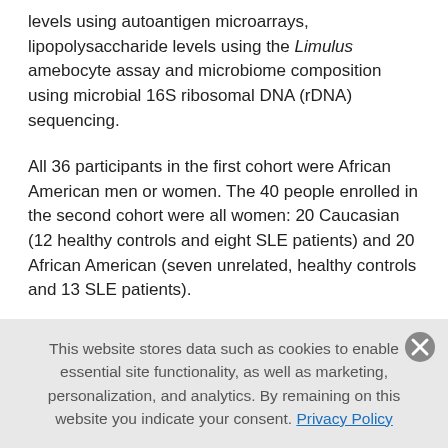levels using autoantigen microarrays, lipopolysaccharide levels using the Limulus amebocyte assay and microbiome composition using microbial 16S ribosomal DNA (rDNA) sequencing.
All 36 participants in the first cohort were African American men or women. The 40 people enrolled in the second cohort were all women: 20 Caucasian (12 healthy controls and eight SLE patients) and 20 African American (seven unrelated, healthy controls and 13 SLE patients).
Plasma SLE-Related Antibodies Found
Researchers found that plasma levels of SLE-related
This website stores data such as cookies to enable essential site functionality, as well as marketing, personalization, and analytics. By remaining on this website you indicate your consent. Privacy Policy